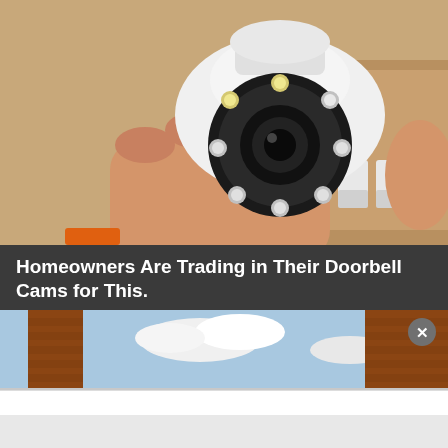[Figure (photo): A hand holding a small white PTZ security camera with a circular lens surrounded by LED lights, with a box of similar cameras in the background.]
Homeowners Are Trading in Their Doorbell Cams for This.
Keilini
[Figure (photo): Partial view of a brick building chimney against a blue sky with clouds, partially obscured by a white popup overlay.]